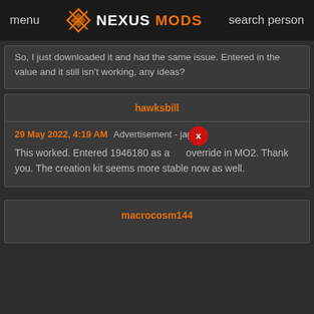menu  NEXUSMODS  search person
So, I just downloaded it and had the same issue. Entered in the value and it still isn't working, any ideas?
hawksbill
29 May 2022, 4:19 AM  Advertisement - jago
This worked. Entered 1946180 as a override in MO2. Thank you. The creation kit seems more stable now as well.
macrocosm144